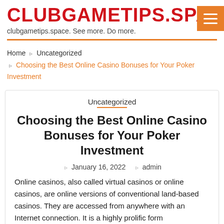CLUBGAMETIPS.SPAC
clubgametips.space. See more. Do more.
Home › Uncategorized › Choosing the Best Online Casino Bonuses for Your Poker Investment
Uncategorized
Choosing the Best Online Casino Bonuses for Your Poker Investment
January 16, 2022   admin
Online casinos, also called virtual casinos or online casinos, are online versions of conventional land-based casinos. They are accessed from anywhere with an Internet connection. It is a highly prolific form